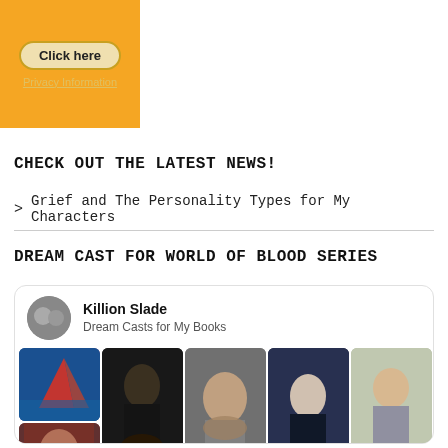[Figure (other): Orange box with 'Click here' button and 'Privacy Information' text]
CHECK OUT THE LATEST NEWS!
> Grief and The Personality Types for My Characters
DREAM CAST FOR WORLD OF BLOOD SERIES
[Figure (other): Pinterest-style card showing Killion Slade Dream Casts for My Books with a grid of actor/character photos]